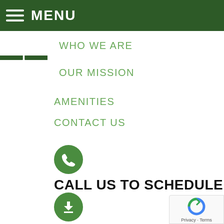MENU
WHO WE ARE
OUR MISSION
AMENITIES
CONTACT US
CALL US TO SCHEDULE YOUR PERSONAL TOUR
201-337-3300
DOWNLOAD OUR BROCHURE